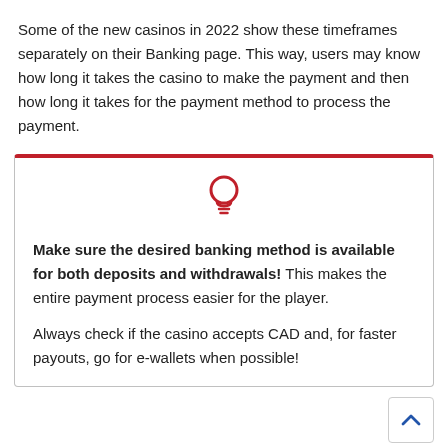Some of the new casinos in 2022 show these timeframes separately on their Banking page. This way, users may know how long it takes the casino to make the payment and then how long it takes for the payment method to process the payment.
Make sure the desired banking method is available for both deposits and withdrawals! This makes the entire payment process easier for the player.

Always check if the casino accepts CAD and, for faster payouts, go for e-wallets when possible!
New online casinos Canada –